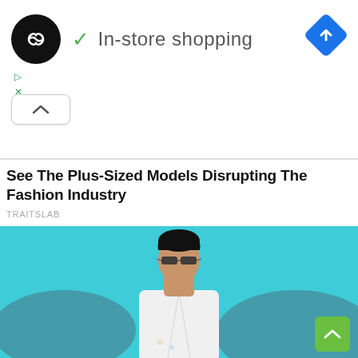[Figure (screenshot): Ad banner with black circle logo with infinity/loop icon, green checkmark, 'In-store shopping' text, and blue diamond navigation icon on the right. Below are small play and close icons, and an up-arrow pill button.]
See The Plus-Sized Models Disrupting The Fashion Industry
TRAITSLAB
[Figure (photo): A man wearing sunglasses and an open white shirt, standing in front of a turquoise ocean and rocky background.]